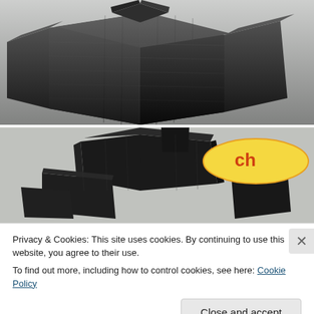[Figure (photo): Close-up photo of dark/black carbon fiber composite material blocks stacked in a cross/grid pattern, from above, on a light gray background]
[Figure (photo): Photo of dark/black carbon composite piece fragments/pieces arranged loosely, with a yellow oval badge logo with 'ch' text in orange in the upper right corner, on a light gray background]
Privacy & Cookies: This site uses cookies. By continuing to use this website, you agree to their use.
To find out more, including how to control cookies, see here: Cookie Policy
Close and accept